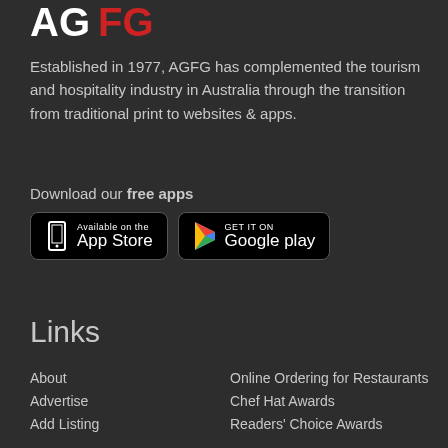[Figure (logo): AGFG logo with AG in white and FG in red, bold sans-serif font]
Established in 1977, AGFG has complemented the tourism and hospitality industry in Australia through the transition from traditional print to websites & apps.
Download our free apps
[Figure (screenshot): App Store button (black, rounded rectangle with phone icon) and Google Play button (black, rounded rectangle with colorful play triangle icon)]
Links
About
Online Ordering for Restaurants
Advertise
Chef Hat Awards
Add Listing
Readers' Choice Awards
Ratings & Symbols
Recipes
Contact
Chefs
RSS
Articles